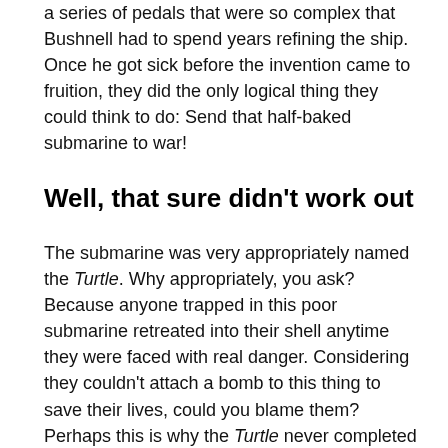a series of pedals that were so complex that Bushnell had to spend years refining the ship. Once he got sick before the invention came to fruition, they did the only logical thing they could think to do: Send that half-baked submarine to war!
Well, that sure didn't work out
The submarine was very appropriately named the Turtle. Why appropriately, you ask? Because anyone trapped in this poor submarine retreated into their shell anytime they were faced with real danger. Considering they couldn't attach a bomb to this thing to save their lives, could you blame them? Perhaps this is why the Turtle never completed a single victorious mission.